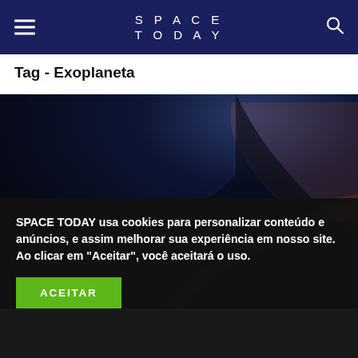SPACE TODAY
Tag - Exoplaneta
[Figure (photo): A dramatic view of an exoplanet with glowing orange-red atmosphere against a dark space background, showing the planet's curved horizon lit from behind.]
SPACE TODAY usa cookies para personalizar conteúdo e anúncios, e assim melhorar sua experiência em nosso site. Ao clicar em "Aceitar", você aceitará o uso.
ACEITAR